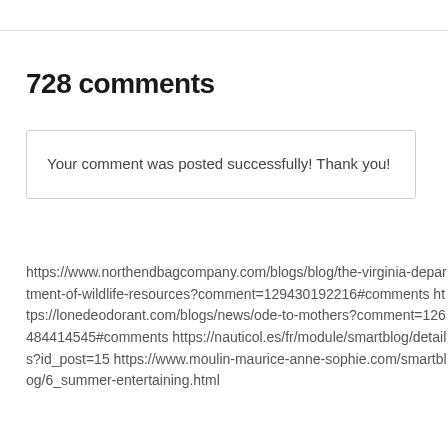728 comments
Your comment was posted successfully! Thank you!
https://www.northendbagcompany.com/blogs/blog/the-virginia-department-of-wildlife-resources?comment=129430192216#comments https://lonedeodorant.com/blogs/news/ode-to-mothers?comment=126484414545#comments https://nauticol.es/fr/module/smartblog/details?id_post=15 https://www.moulin-maurice-anne-sophie.com/smartblog/6_summer-entertaining.html